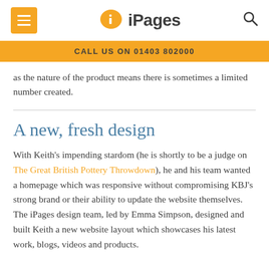iPages
CALL US ON 01403 802000
as the nature of the product means there is sometimes a limited number created.
A new, fresh design
With Keith's impending stardom (he is shortly to be a judge on The Great British Pottery Throwdown), he and his team wanted a homepage which was responsive without compromising KBJ's strong brand or their ability to update the website themselves. The iPages design team, led by Emma Simpson, designed and built Keith a new website layout which showcases his latest work, blogs, videos and products.